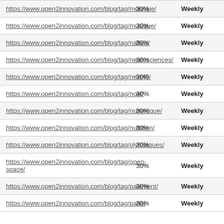| https://www.open2innovation.com/blog/tag/monnaie/ | 30% | Weekly |
| https://www.open2innovation.com/blog/tag/musique/ | 30% | Weekly |
| https://www.open2innovation.com/blog/tag/natixis/ | 30% | Weekly |
| https://www.open2innovation.com/blog/tag/neurosciences/ | 30% | Weekly |
| https://www.open2innovation.com/blog/tag/next40/ | 30% | Weekly |
| https://www.open2innovation.com/blog/tag/noel/ | 30% | Weekly |
| https://www.open2innovation.com/blog/tag/numerique/ | 30% | Weekly |
| https://www.open2innovation.com/blog/tag/nutrition/ | 30% | Weekly |
| https://www.open2innovation.com/blog/tag/olympiques/ | 30% | Weekly |
| https://www.open2innovation.com/blog/tag/open-space/ | 30% | Weekly |
| https://www.open2innovation.com/blog/tag/paiement/ | 30% | Weekly |
| https://www.open2innovation.com/blog/tag/paris/ | 30% | Weekly |